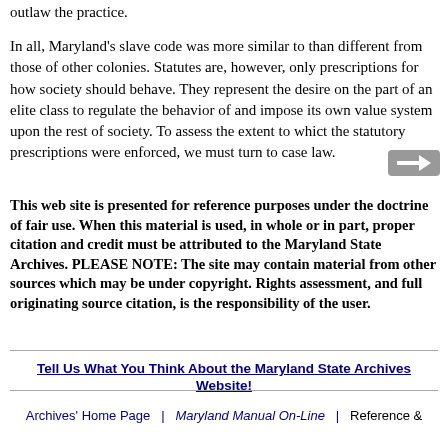outlaw the practice.
In all, Maryland's slave code was more similar to than different from those of other colonies. Statutes are, however, only prescriptions for how society should behave. They represent the desire on the part of an elite class to regulate the behavior of and impose its own value system upon the rest of society. To assess the extent to whict the statutory prescriptions were enforced, we must turn to case law.
This web site is presented for reference purposes under the doctrine of fair use. When this material is used, in whole or in part, proper citation and credit must be attributed to the Maryland State Archives. PLEASE NOTE: The site may contain material from other sources which may be under copyright. Rights assessment, and full originating source citation, is the responsibility of the user.
Tell Us What You Think About the Maryland State Archives Website!
Archives' Home Page  |  Maryland Manual On-Line  |  Reference &